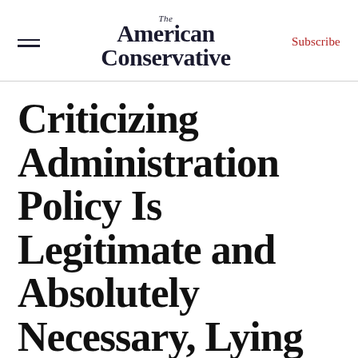The American Conservative | Subscribe
Criticizing Administration Policy Is Legitimate and Absolutely Necessary, Lying About It Isn't
John Podhoretz's criticism of yesterday's media coverage is typical: This was an effort — not entirely conscious — to make it illegitimate for Romney to criticize the president's foreign policy at a moment when foreign policy